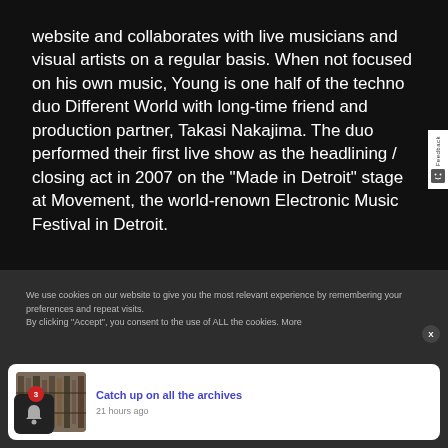website and collaborates with live musicians and visual artists on a regular basis. When not focused on his own music, Young is one half of the techno duo Different World with long-time friend and production partner, Takasi Nakajima. The duo performed their first live show as the headlining / closing act in 2007 on the "Made in Detroit" stage at Movement, the world-renown Electronic Music Festival in Detroit.
We use cookies on our website to give you the most relevant experience by remembering your preferences and repeat visits.
By clicking "Accept", you consent to the use of ALL the cookies. More
Catch up on all the archives
21 hours ago